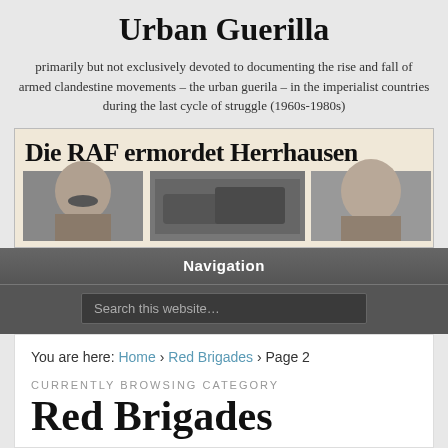Urban Guerilla
primarily but not exclusively devoted to documenting the rise and fall of armed clandestine movements – the urban guerila – in the imperialist countries during the last cycle of struggle (1960s-1980s)
[Figure (photo): Black and white newspaper front page with headline 'Die RAF ermordet Herrhausen' showing portrait photos of two men and a damaged car]
Navigation
Search this website…
You are here: Home › Red Brigades › Page 2
CURRENTLY BROWSING CATEGORY
Red Brigades